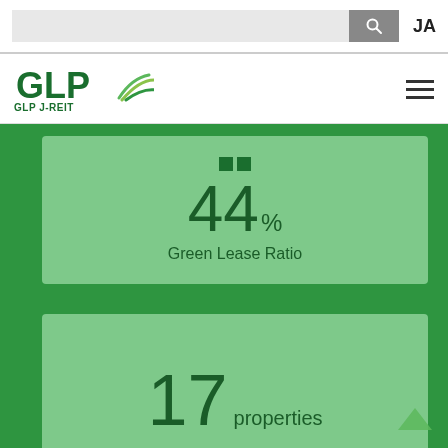[Figure (screenshot): Top navigation bar with search input field, search button with magnifying glass icon, and JA language selector]
[Figure (logo): GLP J-REIT logo with green GLP text and leaf/arrow graphic, with GLP J-REIT subtitle, and hamburger menu icon on the right]
44% Green Lease Ratio
17 properties GLP Facility as Evacuation Center